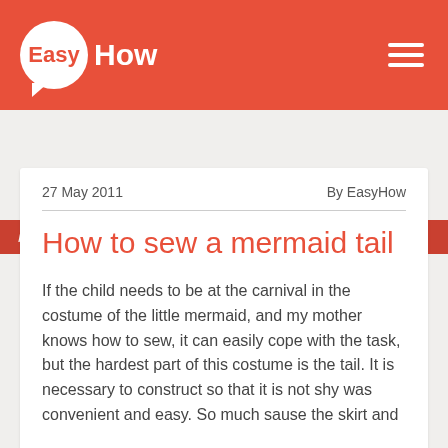EasyHow
Home / Hobby and entertainment / Needlework
27 May 2011 — By EasyHow
How to sew a mermaid tail
If the child needs to be at the carnival in the costume of the little mermaid, and my mother knows how to sew, it can easily cope with the task, but the hardest part of this costume is the tail. It is necessary to construct so that it is not shy was convenient and easy. So much sause the skirt and